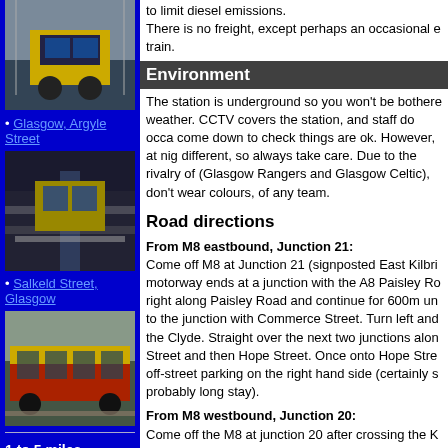[Figure (photo): Train at station, front view, yellow train on tracks]
Glasgow, Argyle Street
[Figure (photo): Underground station platform with train]
Salkeld Street, Glasgow
[Figure (photo): Red and yellow train at station]
1 to 5 miles
Anniesland
[Figure (photo): Green landscape with rail infrastructure]
to limit diesel emissions. There is no freight, except perhaps an occasional e train.
Environment
The station is underground so you won't be bothere weather. CCTV covers the station, and staff do occa come down to check things are ok. However, at nig different, so always take care. Due to the rivalry of (Glasgow Rangers and Glasgow Celtic), don't wear colours, of any team.
Road directions
From M8 eastbound, Junction 21: Come off M8 at Junction 21 (signposted East Kilbri motorway ends at a junction with the A8 Paisley Ro right along Paisley Road and continue for 600m un to the junction with Commerce Street. Turn left and the Clyde. Straight over the next two junctions alon Street and then Hope Street. Once onto Hope Stre off-street parking on the right hand side (certainly s probably long stay).
From M8 westbound, Junction 20: Come off the M8 at junction 20 after crossing the K Bridge. This should bring you onto West Street whi continue along north to Paisley Road. Turn right on Road, along Paisley Road until you reach the juncti Commerce Street and then...